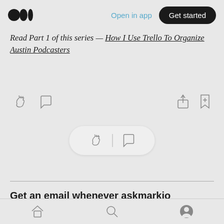Open in app | Get started
Read Part 1 of this series — How I Use Trello To Organize Austin Podcasters
[Figure (screenshot): Article action icons row: clapping hands icon, comment bubble icon on left; share icon and bookmark+ icon on right]
[Figure (screenshot): Pill-shaped button with clapping hands icon, divider, and comment bubble icon]
Get an email whenever askmarkio publishes.
Your email
Bottom navigation bar with home, search, and profile icons